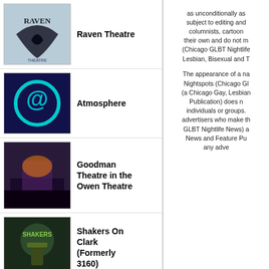Raven Theatre
Atmosphere
Goodman Theatre in the Owen Theatre
Shakers On Clark (Formerly 3160)
Steamworks
Baton Show Lounge
Big Chicks
as unconditionally as subject to editing and columnists, cartoon their own and do not m (Chicago GLBT Nightlife Lesbian, Bisexual and T The appearance of a na Nightspots (Chicago Gl (a Chicago Gay, Lesbian Publication) does n individuals or groups. advertisers who make th GLBT Nightlife News) a News and Feature Pu any adve
[Figure (other): Cookie consent banner overlay with text: This website uses cookies to ensure you get the best experience on our website. Learn more. Got it! button.]